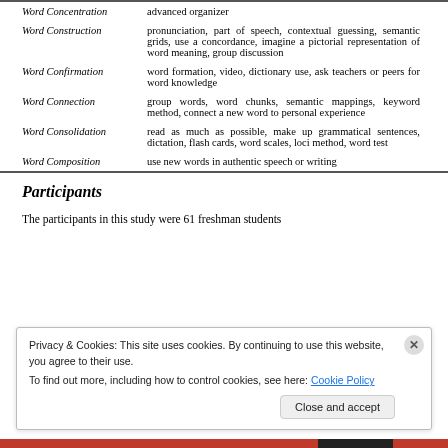|  |  |
| --- | --- |
| Word Concentration | advanced organizer |
| Word Construction | pronunciation, part of speech, contextual guessing, semantic grids, use a concordance, imagine a pictorial representation of word meaning, group discussion |
| Word Confirmation | word formation, video, dictionary use, ask teachers or peers for word knowledge |
| Word Connection | group words, word chunks, semantic mappings, keyword method, connect a new word to personal experience |
| Word Consolidation | read as much as possible, make up grammatical sentences, dictation, flash cards, word scales, loci method, word test |
| Word Composition | use new words in authentic speech or writing |
Participants
The participants in this study were 61 freshman students
Privacy & Cookies: This site uses cookies. By continuing to use this website, you agree to their use.
To find out more, including how to control cookies, see here: Cookie Policy